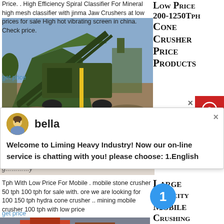Price. . High Efficiency Spiral Classifier For Mineral high mesh classifier with jinma Jaw Crushers at low prices for sale High hot vibrating screen in china. Check price.
get price
[Figure (photo): Green industrial mining/crushing equipment machine outdoors]
Low Price 200-1250Tph Cone Crusher Price Products
[Figure (screenshot): Chat popup from Liming Heavy Industry with agent named bella]
Welcome to Liming Heavy Industry! Now our on-line service is chatting with you! please choose: 1.English
Tph With Low Price For Mobile . mobile stone crusher 50 tph 100 tph for sale with. ore we are looking for 100 150 tph hydra cone crusher .. mining mobile crusher 100 tph with low price
get price
Large Capacity Mobile Crushing Plant Autorijschoolsdejong.Nl
[Figure (photo): Red/orange mobile crushing plant equipment on construction site]